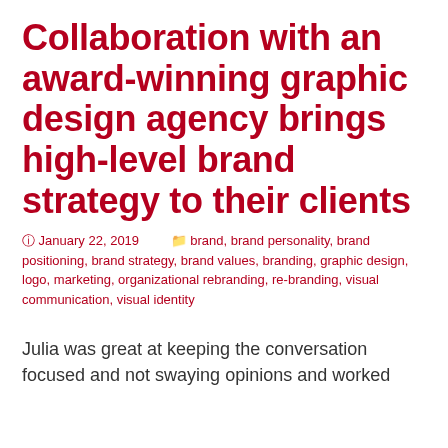Collaboration with an award-winning graphic design agency brings high-level brand strategy to their clients
January 22, 2019   brand, brand personality, brand positioning, brand strategy, brand values, branding, graphic design, logo, marketing, organizational rebranding, re-branding, visual communication, visual identity
Julia was great at keeping the conversation focused and not swaying opinions and worked